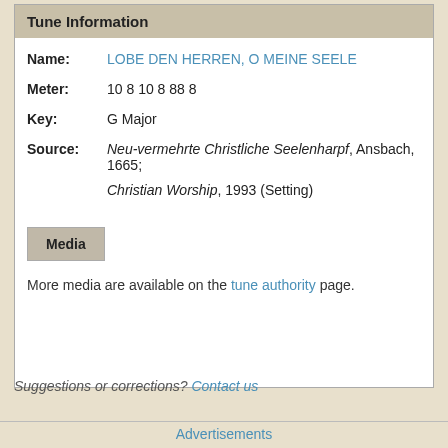Tune Information
| Name: | LOBE DEN HERREN, O MEINE SEELE |
| Meter: | 10 8 10 8 88 8 |
| Key: | G Major |
| Source: | Neu-vermehrte Christliche Seelenharpf, Ansbach, 1665; Christian Worship, 1993 (Setting) |
Media
More media are available on the tune authority page.
Suggestions or corrections? Contact us
Advertisements